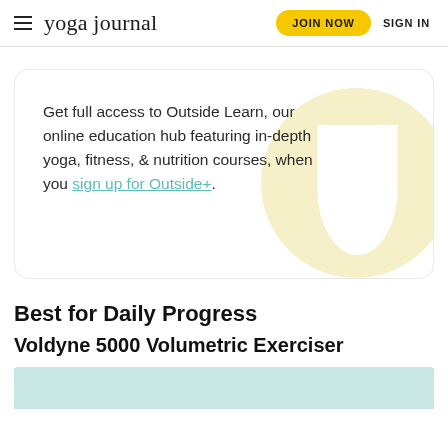yoga journal  JOIN NOW  SIGN IN
Get full access to Outside Learn, our online education hub featuring in-depth yoga, fitness, & nutrition courses, when you sign up for Outside+.
Best for Daily Progress
Voldyne 5000 Volumetric Exerciser
[Figure (photo): Teal/mint colored background strip, partial product image area]